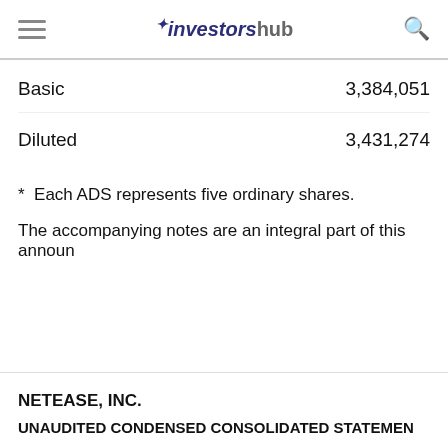investorshub
|  |  |
| --- | --- |
| Basic | 3,384,051 |
| Diluted | 3,431,274 |
*  Each ADS represents five ordinary shares.
The accompanying notes are an integral part of this announ
NETEASE, INC.
UNAUDITED CONDENSED CONSOLIDATED STATEMEN